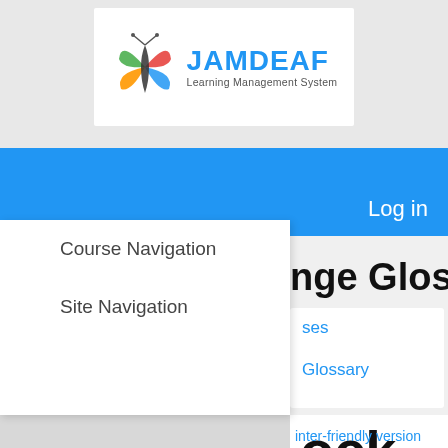[Figure (logo): JAMDEAF Learning Management System logo with colorful butterfly/figure graphic on white background]
Log in
Course Navigation
Site Navigation
nge Glossary
ses
Glossary
ock
rds
inter-friendly version